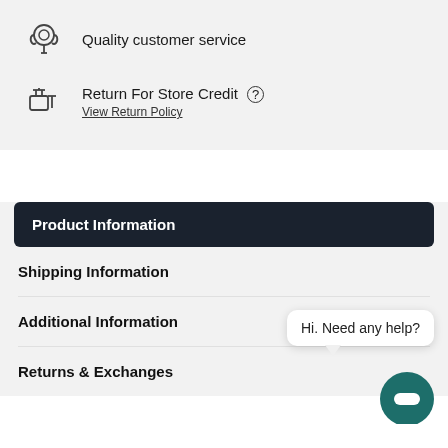Quality customer service
Return For Store Credit
View Return Policy
Product Information
Shipping Information
Additional Information
Returns & Exchanges
Hi. Need any help?